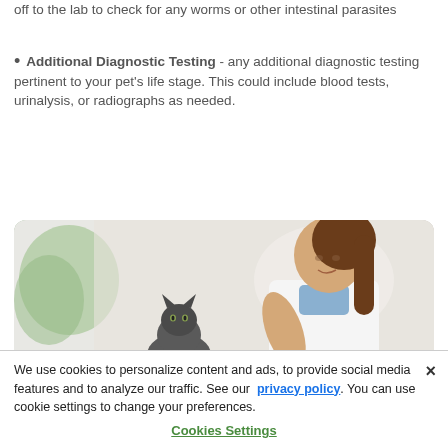off to the lab to check for any worms or other intestinal parasites
Additional Diagnostic Testing -  any additional diagnostic testing pertinent to your pet's life stage. This could include blood tests, urinalysis, or radiographs as needed.
[Figure (photo): A female veterinarian in a white coat leaning over to examine a dark-colored cat on an examination table, with a blurred green plant in the background.]
We use cookies to personalize content and ads, to provide social media features and to analyze our traffic. See our privacy policy. You can use cookie settings to change your preferences.
Cookies Settings